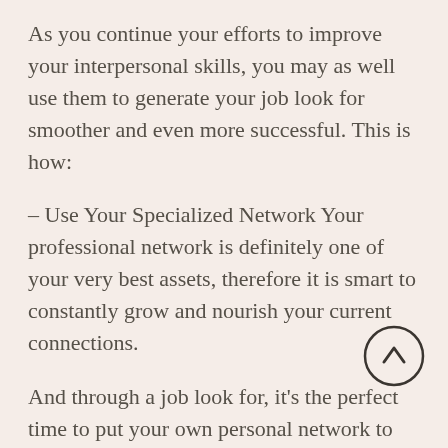As you continue your efforts to improve your interpersonal skills, you may as well use them to generate your job look for smoother and even more successful. This is how:
– Use Your Specialized Network Your professional network is definitely one of your very best assets, therefore it is smart to constantly grow and nourish your current connections.
And through a job look for, it's the perfect time to put your own personal network to work. Think to